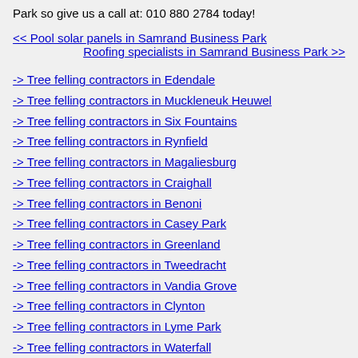Park so give us a call at: 010 880 2784 today!
<< Pool solar panels in Samrand Business Park
Roofing specialists in Samrand Business Park >>
-> Tree felling contractors in Edendale
-> Tree felling contractors in Muckleneuk Heuwel
-> Tree felling contractors in Six Fountains
-> Tree felling contractors in Rynfield
-> Tree felling contractors in Magaliesburg
-> Tree felling contractors in Craighall
-> Tree felling contractors in Benoni
-> Tree felling contractors in Casey Park
-> Tree felling contractors in Greenland
-> Tree felling contractors in Tweedracht
-> Tree felling contractors in Vandia Grove
-> Tree felling contractors in Clynton
-> Tree felling contractors in Lyme Park
-> Tree felling contractors in Waterfall
-> Tree felling contractors in Delarey
-> Tree felling contractors in Vlakfontein
-> Tree felling contractors in Rooikraal
-> Tree felling contractors in Newlands
-> Tree felling contractors in Wierdapark
-> Tree felling contractors in Booysens
-> Tree felling contractors in Pinegowri
-> Tree felling contractors in Longmeadow